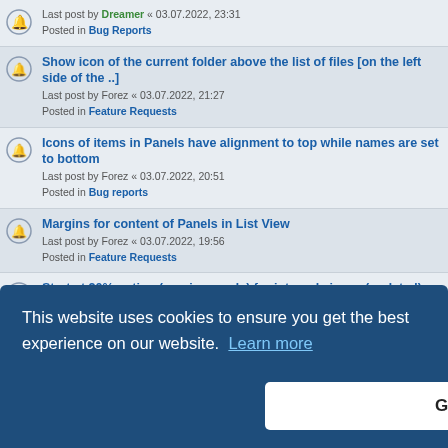Last post by Dreamer « 03.07.2022, 23:31 Posted in Bug Reports
Show icon of the current folder above the list of files [on the left side of the ..] Last post by Forez « 03.07.2022, 21:27 Posted in Feature Requests
Icons of items in Panels have alignment to top while names are set to bottom Last post by Forez « 03.07.2022, 20:51 Posted in Bug reports
Margins for content of Panels in List View Last post by Forez « 03.07.2022, 19:56 Posted in Feature Requests
Start at 20% option (preview mode) for internal viewer (updated) Last post by Dreamer « 03.07.2022, 14:08 Posted in Feature Requests
Separators have fixed width of 1 pixel on Address Bar and Splitter Last post by Forez « 29.06.2022, 20:26 Posted in Bug reports
...should be created upon...
Achieve six-tabs-highlight color for Window Panel Last post by Forez... Posted in Custom Installers
Inconsistent icons color for toolbar system Last post by ... Posted in Bug reports
Unable to change icon for actView parameters
This website uses cookies to ensure you get the best experience on our website. Learn more
Got it!